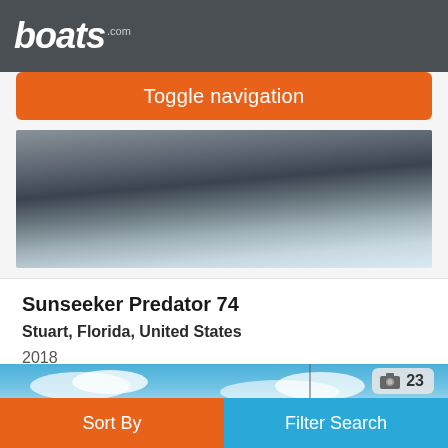boats.com
Toggle navigation
[Figure (photo): Aerial or side view of a large luxury motor yacht hull, dark blue/black, against light water and snow-like background]
Sunseeker Predator 74
Stuart, Florida, United States
2018
£2,549,045
Seller Sovereign Yacht Sales
[Figure (photo): Second boat listing photo showing blue sky with clouds, sailboat mast visible, photo count badge showing 23]
Sort By  Filter Search